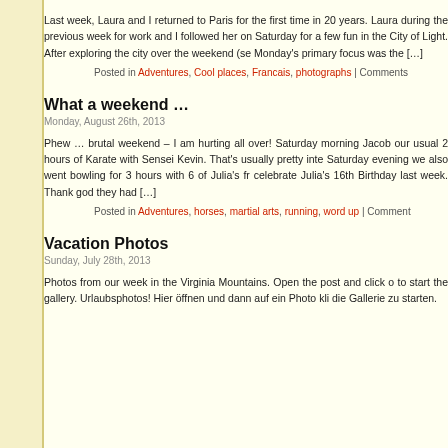Last week, Laura and I returned to Paris for the first time in 20 years. Laura during the previous week for work and I followed her on Saturday for a few fun in the City of Light. After exploring the city over the weekend (se Monday's primary focus was the [...]
Posted in Adventures, Cool places, Francais, photographs | Comments
What a weekend ...
Monday, August 26th, 2013
Phew ... brutal weekend - I am hurting all over! Saturday morning Jacob our usual 2 hours of Karate with Sensei Kevin. That's usually pretty inte Saturday evening we also went bowling for 3 hours with 6 of Julia's fr celebrate Julia's 16th Birthday last week. Thank god they had [...]
Posted in Adventures, horses, martial arts, running, word up | Comment
Vacation Photos
Sunday, July 28th, 2013
Photos from our week in the Virginia Mountains. Open the post and click o to start the gallery. Urlaubsphotos! Hier öffnen und dann auf ein Photo kli die Gallerie zu starten.